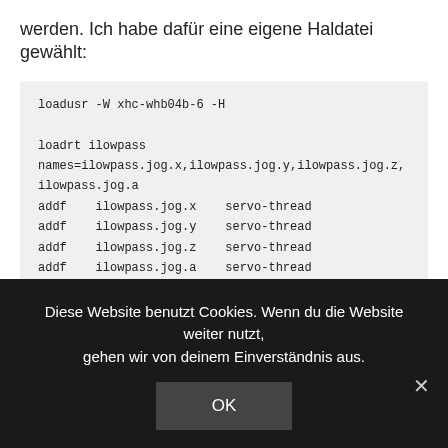werden. Ich habe dafür eine eigene Haldatei gewählt:
loadusr -W xhc-whb04b-6 -H

loadrt ilowpass
names=ilowpass.jog.x,ilowpass.jog.y,ilowpass.jog.z,
ilowpass.jog.a
addf    ilowpass.jog.x    servo-thread
addf    ilowpass.jog.y    servo-thread
addf    ilowpass.jog.z    servo-thread
addf    ilowpass.jog.a    servo-thread
setp    ilowpass.jog.x.scale 100
setp    ilowpass.jog.y.scale 100
setp    ilowpass.jog.z.scale 100
setp    ilowpass.jog.a.scale 100
Diese Website benutzt Cookies. Wenn du die Website weiter nutzt, gehen wir von deinem Einverständnis aus.